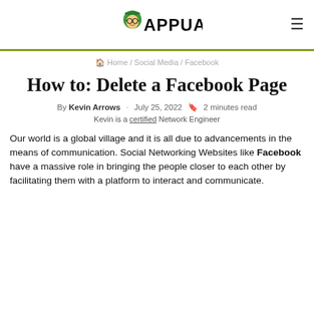APPUALS (logo) — navigation header
Home / Social Media / Facebook
How to: Delete a Facebook Page
By Kevin Arrows · July 25, 2022 🔖 2 minutes read
Kevin is a certified Network Engineer
Our world is a global village and it is all due to advancements in the means of communication. Social Networking Websites like Facebook have a massive role in bringing the people closer to each other by facilitating them with a platform to interact and communicate.